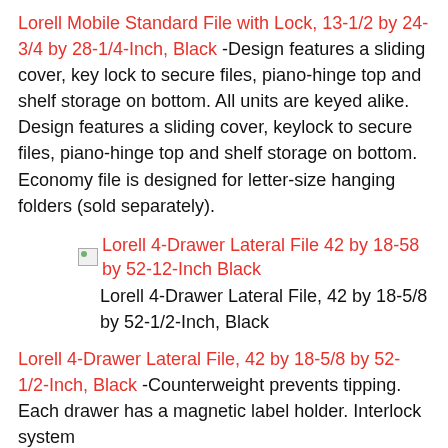Lorell Mobile Standard File with Lock, 13-1/2 by 24-3/4 by 28-1/4-Inch, Black -Design features a sliding cover, key lock to secure files, piano-hinge top and shelf storage on bottom. All units are keyed alike. Design features a sliding cover, keylock to secure files, piano-hinge top and shelf storage on bottom. Economy file is designed for letter-size hanging folders (sold separately).
[Figure (photo): Broken image placeholder for Lorell 4-Drawer Lateral File 42 by 18-58 by 52-12-Inch Black]
Lorell 4-Drawer Lateral File, 42 by 18-5/8 by 52-1/2-Inch, Black
Lorell 4-Drawer Lateral File, 42 by 18-5/8 by 52-1/2-Inch, Black -Counterweight prevents tipping. Each drawer has a magnetic label holder. Interlock system